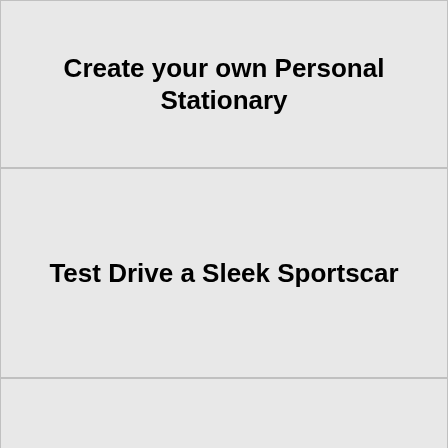Create your own Personal Stationary
Test Drive a Sleek Sportscar
Spend the Entire Day By Myself
Elk
Try Bikram Yoga
Go to a Tattoo